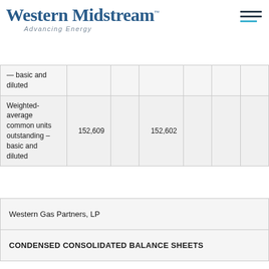Western Midstream™ — Advancing Energy
| — basic and diluted |  |  |  |  |  |  |
| Weighted-average common units outstanding – basic and diluted | 152,609 |  | 152,602 |  |  |  |
Western Gas Partners, LP
CONDENSED CONSOLIDATED BALANCE SHEETS